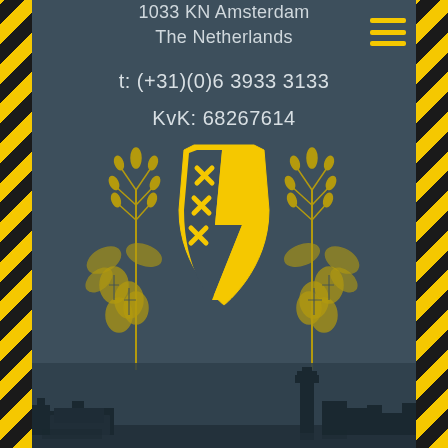1033 KN Amsterdam
The Netherlands
t: (+31)(0)6 3933 3133
KvK: 68267614
[Figure (logo): Company logo with Amsterdam shield bearing lightning bolt and three crosses (xxx), flanked by wheat/hop plant illustrations on either side, all in yellow on dark teal background]
[Figure (photo): Amsterdam city skyline / waterfront panorama at bottom of page]